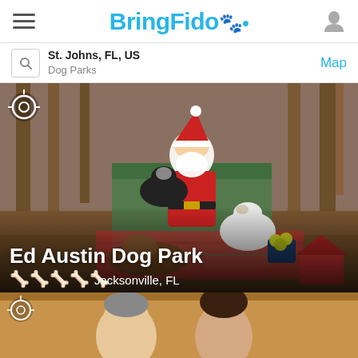BringFido
St. Johns, FL, US
Dog Parks
Map
[Figure (photo): Santa Claus sitting in a chair at a dog park, holding a dog, with two other dogs around him in a wooded outdoor setting]
Ed Austin Dog Park
Jacksonville, FL
[Figure (photo): Partial view of two people smiling at the bottom of the screen]